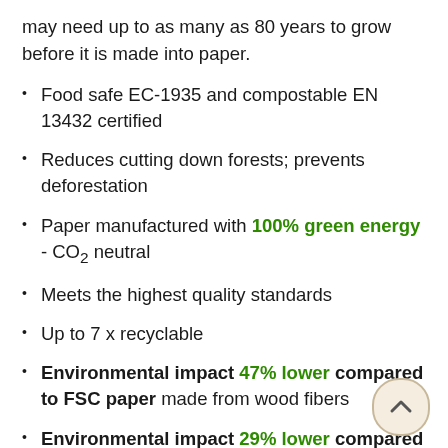may need up to as many as 80 years to grow before it is made into paper.
Food safe EC-1935 and compostable EN 13432 certified
Reduces cutting down forests; prevents deforestation
Paper manufactured with 100% green energy - CO₂ neutral
Meets the highest quality standards
Up to 7 x recyclable
Environmental impact 47% lower compared to FSC paper made from wood fibers
Environmental impact 29% lower compared to recycled paper made from wood fibers
The yield of the material cellulose per hectare is approximately 1.5 times higher than that of hectare of forest...